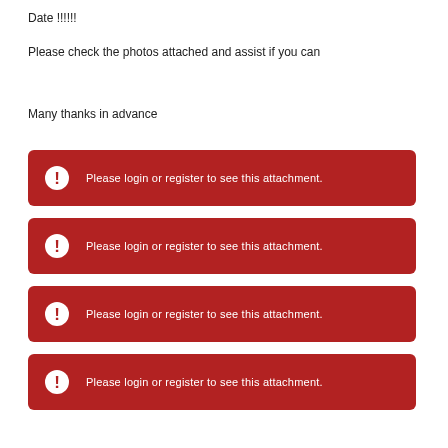Date !!!!!!
Please check the photos attached and assist if you can
Many thanks in advance
Please login or register to see this attachment.
Please login or register to see this attachment.
Please login or register to see this attachment.
Please login or register to see this attachment.